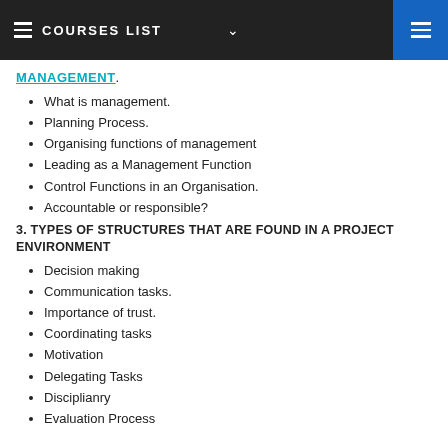COURSES LIST
MANAGEMENT.
What is management.
Planning Process.
Organising functions of management
Leading as a Management Function
Control Functions in an Organisation.
Accountable or responsible?
3. TYPES OF STRUCTURES THAT ARE FOUND IN A PROJECT ENVIRONMENT
Decision making
Communication tasks.
Importance of trust.
Coordinating tasks
Motivation
Delegating Tasks
Disciplianry
Evaluation Process